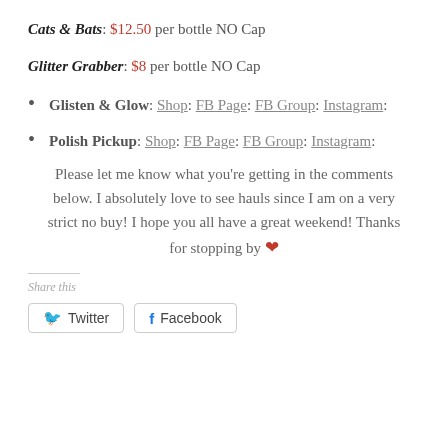Cats & Bats: $12.50 per bottle NO Cap
Glitter Grabber: $8 per bottle NO Cap
Glisten & Glow: Shop: FB Page: FB Group: Instagram:
Polish Pickup: Shop: FB Page: FB Group: Instagram:
Please let me know what you're getting in the comments below. I absolutely love to see hauls since I am on a very strict no buy! I hope you all have a great weekend! Thanks for stopping by ❤
Share this
Twitter  Facebook